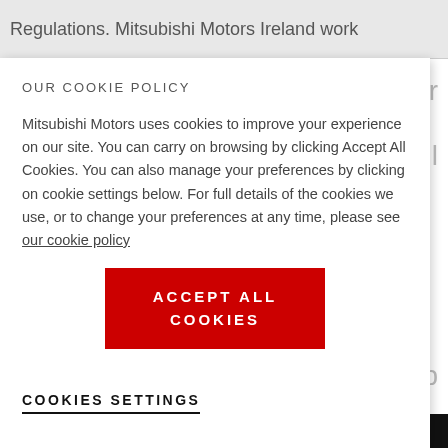Regulations. Mitsubishi Motors Ireland work
OUR COOKIE POLICY
Mitsubishi Motors uses cookies to improve your experience on our site. You can carry on browsing by clicking Accept All Cookies. You can also manage your preferences by clicking on cookie settings below. For full details of the cookies we use, or to change your preferences at any time, please see our cookie policy
ACCEPT ALL COOKIES
COOKIES SETTINGS
DEALER LOCATOR   BOOK A SERVICE   DOWNLOAD BROCHURE